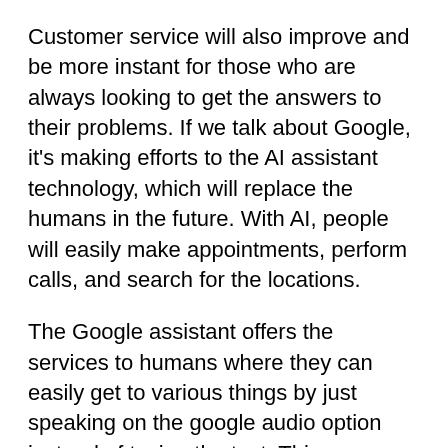Customer service will also improve and be more instant for those who are always looking to get the answers to their problems. If we talk about Google, it's making efforts to the AI assistant technology, which will replace the humans in the future. With AI, people will easily make appointments, perform calls, and search for the locations.
The Google assistant offers the services to humans where they can easily get to various things by just speaking on the google audio option instead of typing the text. This technology is going to help those who are with disabilities or not that educated to type something.